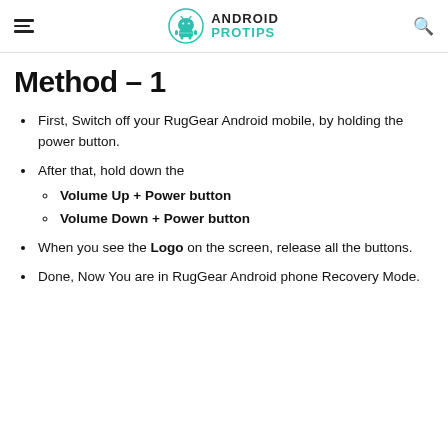Android Pro Tips
Method – 1
First, Switch off your RugGear Android mobile, by holding the power button.
After that, hold down the
Volume Up + Power button
Volume Down + Power button
When you see the Logo on the screen, release all the buttons.
Done, Now You are in RugGear Android phone Recovery Mode.